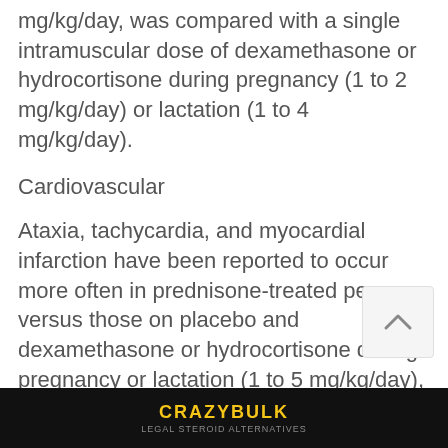mg/kg/day, was compared with a single intramuscular dose of dexamethasone or hydrocortisone during pregnancy (1 to 2 mg/kg/day) or lactation (1 to 4 mg/kg/day).
Cardiovascular
Ataxia, tachycardia, and myocardial infarction have been reported to occur more often in prednisone-treated persons versus those on placebo and dexamethasone or hydrocortisone during pregnancy or lactation (1 to 5 mg/kg/day), https://elenayurevna-vospitatel.ru/community/profile/gana49866233
Meconium
[Figure (screenshot): CrazyBulk advertisement banner at bottom of page]